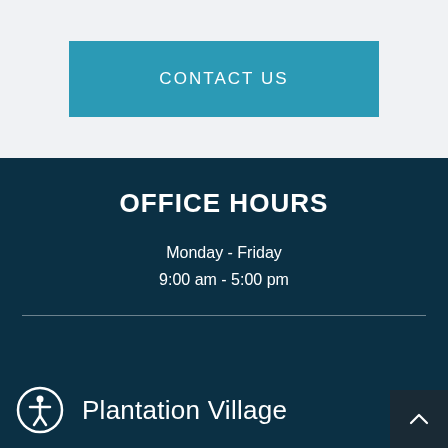CONTACT US
OFFICE HOURS
Monday - Friday
9:00 am - 5:00 pm
Plantation Village